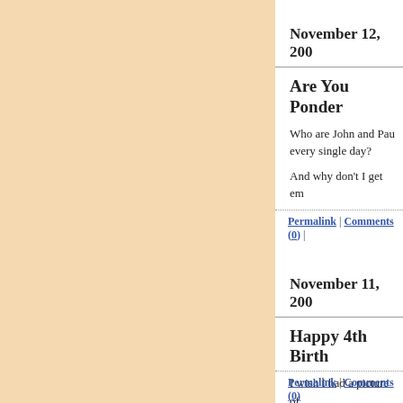November 12, 200
Are You Ponder
Who are John and Pau every single day?
And why don't I get em
Permalink | Comments (0)
November 11, 200
Happy 4th Birth
I wish I had a picture of
I gave her half my stea next year. Besides, Tha
She asked for one of th at that. Let her disembo
Permalink | Comments (0)